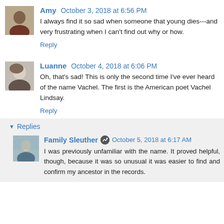Amy  October 3, 2018 at 6:56 PM
I always find it so sad when someone that young dies---and very frustrating when I can't find out why or how.
Reply
Luanne  October 4, 2018 at 6:06 PM
Oh, that's sad! This is only the second time I've ever heard of the name Vachel. The first is the American poet Vachel Lindsay.
Reply
Replies
Family Sleuther  October 5, 2018 at 6:17 AM
I was previously unfamiliar with the name. It proved helpful, though, because it was so unusual it was easier to find and confirm my ancestor in the records.